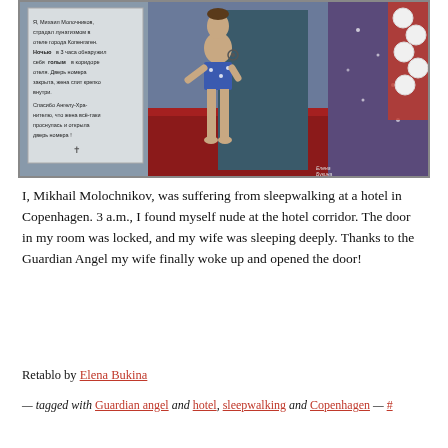[Figure (illustration): A painting (retablo) showing a man in blue star-patterned swim shorts standing in a hotel corridor at night, with a note in Russian on the left side and a figure with balloons on the right side.]
I, Mikhail Molochnikov, was suffering from sleepwalking at a hotel in Copenhagen. 3 a.m., I found myself nude at the hotel corridor. The door in my room was locked, and my wife was sleeping deeply. Thanks to the Guardian Angel my wife finally woke up and opened the door!
Retablo by Elena Bukina
— tagged with Guardian angel and hotel, sleepwalking and Copenhagen — #